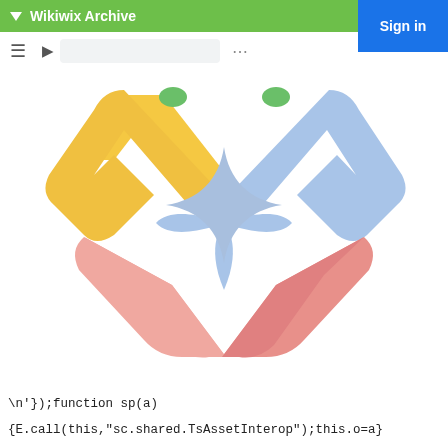▼ Wikiwix Archive
[Figure (logo): Google Gemini / Google AI logo — a diamond shape made of four rounded chevron arms (yellow top-left, blue top-right, red/pink bottom-right, yellow-red bottom-left) with a four-pointed blue star in the center]
\n'));function sp(a)
{E.call(this,"sc.shared.TsAssetInterop");this.o=a}
(sp,E);sp.prototype.content=function(){d(p[this.o])};var